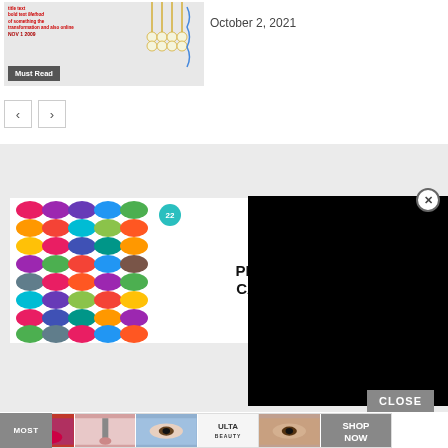[Figure (screenshot): Thumbnail image of article with jewelry/hair accessories photo and small text, with 'Must Read' button overlay]
October 2, 2021
[Figure (other): Navigation arrow buttons left and right]
[Figure (screenshot): Website content area with gray background and advertisement banner showing colorful scrunchies and text '37 GENIUS AMAZON PRODUCTS THAT CAN BE USED BY ANYONE' with teal badge '22', partially obscured by black video overlay]
[Figure (screenshot): Black video player overlay covering right portion of ad]
[Figure (screenshot): Close X circular button]
CLOSE
[Figure (screenshot): Bottom advertisement strip showing makeup/beauty images and Ulta Beauty logo with SHOP NOW button]
MOST